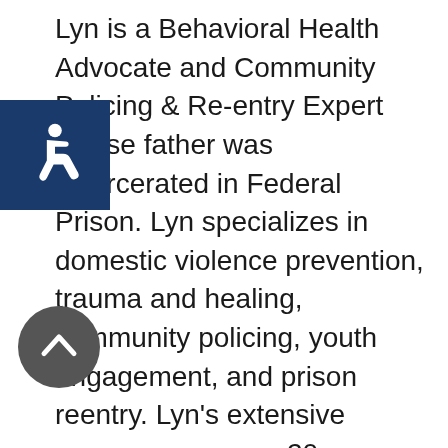Lyn is a Behavioral Health Advocate and Community Policing & Re-entry Expert whose father was incarcerated in Federal Prison. Lyn specializes in domestic violence prevention, trauma and healing, community policing, youth engagement, and prison reentry. Lyn's extensive career spans over 20 years, including a dynamic background in violence reduction with a majority of years spent in law enforcement as a civilian, in addition to the private and nonprofit sectors, state, and federal government. She also advises grassroots organizations that offer fatherhood and mentoring programs for returned citizens. Lyn works to bridge the